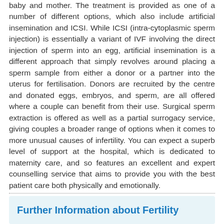baby and mother. The treatment is provided as one of a number of different options, which also include artificial insemination and ICSI. While ICSI (intra-cytoplasmic sperm injection) is essentially a variant of IVF involving the direct injection of sperm into an egg, artificial insemination is a different approach that simply revolves around placing a sperm sample from either a donor or a partner into the uterus for fertilisation. Donors are recruited by the centre and donated eggs, embryos, and sperm, are all offered where a couple can benefit from their use. Surgical sperm extraction is offered as well as a partial surrogacy service, giving couples a broader range of options when it comes to more unusual causes of infertility. You can expect a superb level of support at the hospital, which is dedicated to maternity care, and so features an excellent and expert counselling service that aims to provide you with the best patient care both physically and emotionally.
Further Information about Fertility